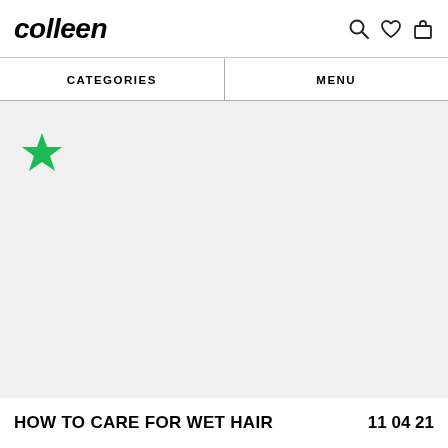colleen
CATEGORIES | MENU
[Figure (illustration): Light gray content area with a green filled star icon in the upper-left region]
HOW TO CARE FOR WET HAIR
11 04 21